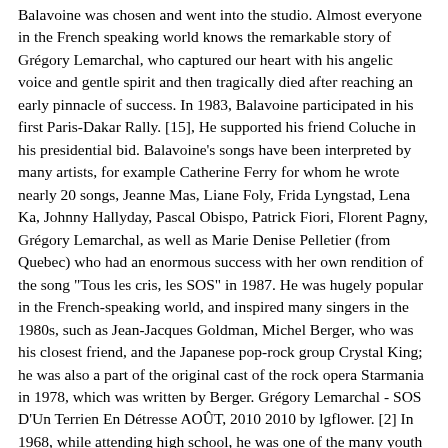Balavoine was chosen and went into the studio. Almost everyone in the French speaking world knows the remarkable story of Grégory Lemarchal, who captured our heart with his angelic voice and gentle spirit and then tragically died after reaching an early pinnacle of success. In 1983, Balavoine participated in his first Paris-Dakar Rally. [15], He supported his friend Coluche in his presidential bid. Balavoine's songs have been interpreted by many artists, for example Catherine Ferry for whom he wrote nearly 20 songs, Jeanne Mas, Liane Foly, Frida Lyngstad, Lena Ka, Johnny Hallyday, Pascal Obispo, Patrick Fiori, Florent Pagny, Grégory Lemarchal, as well as Marie Denise Pelletier (from Quebec) who had an enormous success with her own rendition of the song "Tous les cris, les SOS" in 1987. He was hugely popular in the French-speaking world, and inspired many singers in the 1980s, such as Jean-Jacques Goldman, Michel Berger, who was his closest friend, and the Japanese pop-rock group Crystal King; he was also a part of the original cast of the rock opera Starmania in 1978, which was written by Berger. Grégory Lemarchal - SOS D'Un Terrien En Détresse AOÛT, 2010 2010 by lgflower. [2] In 1968, while attending high school, he was one of the many youth who supported the nationwide strikes. French singers, including Balavoine, organised their own event, Singers Without Borders, which was not a big success mostly because of the expensive price of the tickets. with world music ambient with African drums. Between April and May 1979, the musical was performed at the Palais des congrès in Paris before 100,000 spectators for the